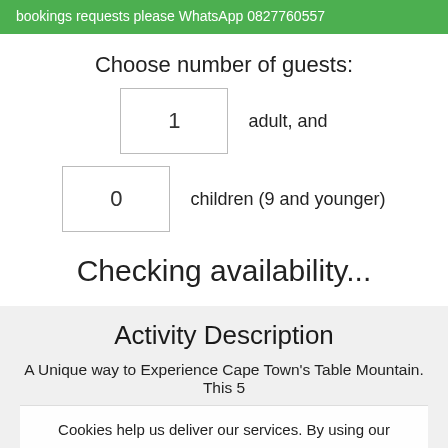bookings requests please WhatsApp 0827760557
Choose number of guests:
1 adult, and
0 children (9 and younger)
Checking availability...
Activity Description
A Unique way to Experience Cape Town's Table Mountain. This 5
Cookies help us deliver our services. By using our services, you agree to our use of cookies.
OK   Learn more